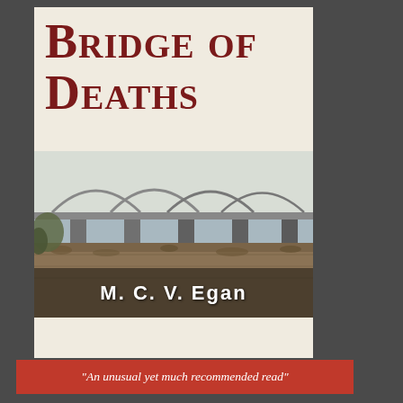[Figure (illustration): Book cover of 'Bridge of Deaths' by M. C. V. Egan. The cover shows a large title in dark red serif font at the top on a cream/beige background, a photograph of a bridge with arched spans over water in the middle, and the author's name in white bold text at the bottom over the photograph. The overall cover is set against a dark gray background.]
"An unusual yet much recommended read"